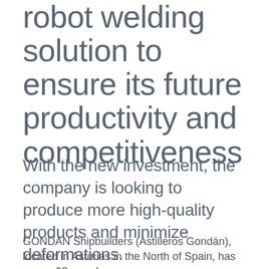robot welding solution to ensure its future productivity and competitiveness
With the new investment, the company is looking to produce more high-quality products and minimize deformations.
GONDAN Shipbuilders (Astilleros Gondán), located in Asturias in the North of Spain, has over a 90-year-long